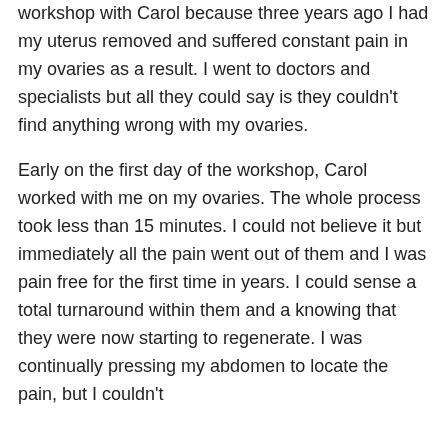workshop with Carol because three years ago I had my uterus removed and suffered constant pain in my ovaries as a result. I went to doctors and specialists but all they could say is they couldn't find anything wrong with my ovaries.

Early on the first day of the workshop, Carol worked with me on my ovaries. The whole process took less than 15 minutes. I could not believe it but immediately all the pain went out of them and I was pain free for the first time in years. I could sense a total turnaround within them and a knowing that they were now starting to regenerate. I was continually pressing my abdomen to locate the pain, but I couldn't